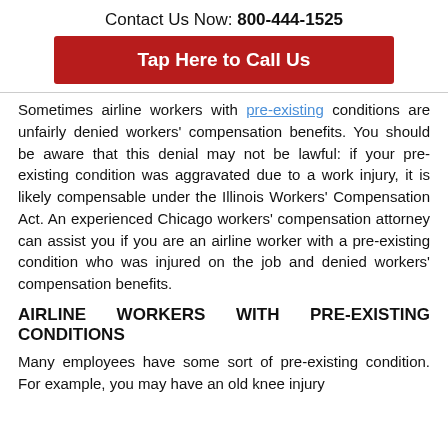Contact Us Now: 800-444-1525
[Figure (other): Red button labeled 'Tap Here to Call Us']
Sometimes airline workers with pre-existing conditions are unfairly denied workers' compensation benefits. You should be aware that this denial may not be lawful: if your pre-existing condition was aggravated due to a work injury, it is likely compensable under the Illinois Workers' Compensation Act. An experienced Chicago workers' compensation attorney can assist you if you are an airline worker with a pre-existing condition who was injured on the job and denied workers' compensation benefits.
AIRLINE WORKERS WITH PRE-EXISTING CONDITIONS
Many employees have some sort of pre-existing condition. For example, you may have an old knee injury...